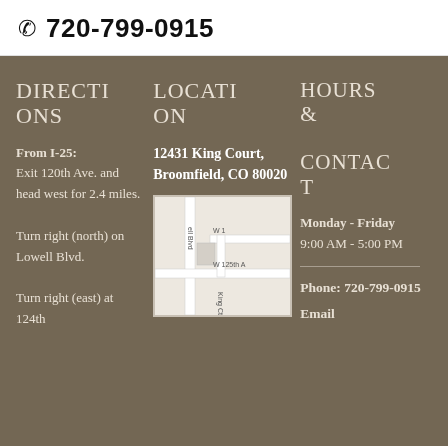720-799-0915
DIRECTIONS
From I-25: Exit 120th Ave. and head west for 2.4 miles. Turn right (north) on Lowell Blvd. Turn right (east) at 124th
LOCATION
12431 King Court, Broomfield, CO 80020
[Figure (map): Street map showing King Court area with Lowell Blvd and W 125th Ave]
HOURS & CONTACT
Monday - Friday 9:00 AM - 5:00 PM
Phone: 720-799-0915
Email